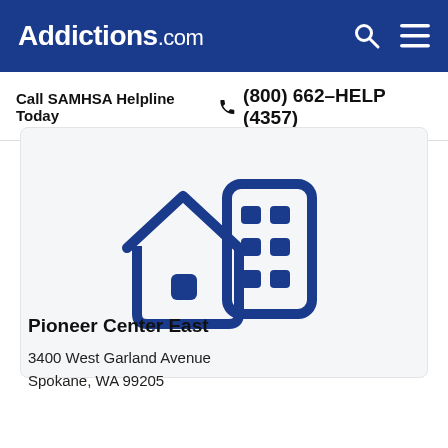Addictions.com
Call SAMHSA Helpline Today  (800) 662-HELP (4357)
[Figure (illustration): Icon of a house and a building/office structure in dark blue, representing a treatment facility]
Pioneer Center East
3400 West Garland Avenue
Spokane, WA 99205